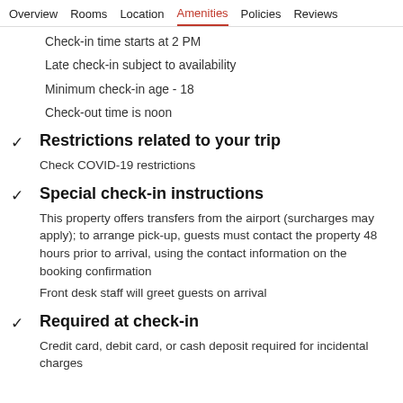Overview  Rooms  Location  Amenities  Policies  Reviews
Check-in time starts at 2 PM
Late check-in subject to availability
Minimum check-in age - 18
Check-out time is noon
Restrictions related to your trip
Check COVID-19 restrictions
Special check-in instructions
This property offers transfers from the airport (surcharges may apply); to arrange pick-up, guests must contact the property 48 hours prior to arrival, using the contact information on the booking confirmation
Front desk staff will greet guests on arrival
Required at check-in
Credit card, debit card, or cash deposit required for incidental charges